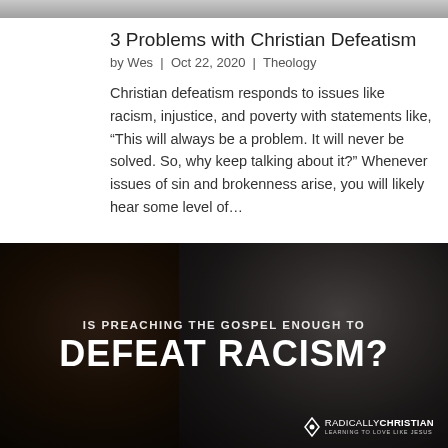[Figure (photo): Top partial image cropped at top of page, appears to be a gray/neutral image strip]
3 Problems with Christian Defeatism
by Wes  |  Oct 22, 2020  |  Theology
Christian defeatism responds to issues like racism, injustice, and poverty with statements like, “This will always be a problem. It will never be solved. So, why keep talking about it?” Whenever issues of sin and brokenness arise, you will likely hear some level of…
[Figure (photo): Dark promotional image showing two men's faces with text overlay reading 'IS PREACHING THE GOSPEL ENOUGH TO DEFEAT RACISM?' and RadicallyChristian branding in bottom right]